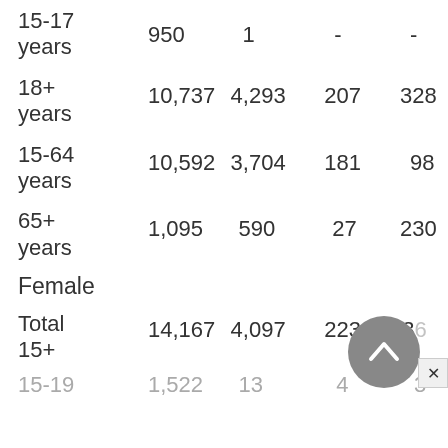| Age Group | Col1 | Col2 | Col3 | Col4 |
| --- | --- | --- | --- | --- |
| 15-17 years | 950 | 1 | - | - |
| 18+ years | 10,737 | 4,293 | 207 | 328 |
| 15-64 years | 10,592 | 3,704 | 181 | 98 |
| 65+ years | 1,095 | 590 | 27 | 230 |
| Female |  |  |  |  |
| Total 15+ | 14,167 | 4,097 | 223 | 1,367 |
| 15-19 | 1,522 | 13 | 4 | 3 |